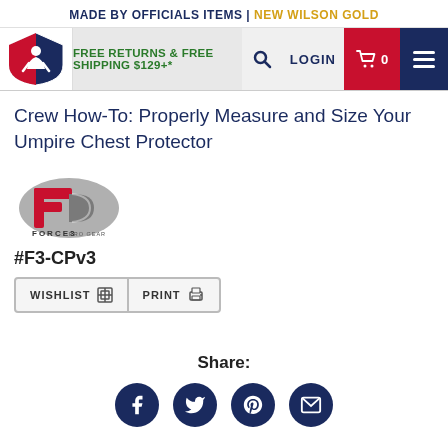MADE BY OFFICIALS ITEMS | NEW WILSON GOLD
[Figure (logo): UmpAttire.com logo - umpire silhouette on red/blue shield]
FREE RETURNS & FREE SHIPPING $129+*
Crew How-To: Properly Measure and Size Your Umpire Chest Protector
[Figure (logo): Force3 Pro Gear logo - red and grey F3 shield emblem]
#F3-CPv3
WISHLIST  PRINT
Share:
[Figure (infographic): Social share icons: Facebook, Twitter, Pinterest, Email - dark navy circles]